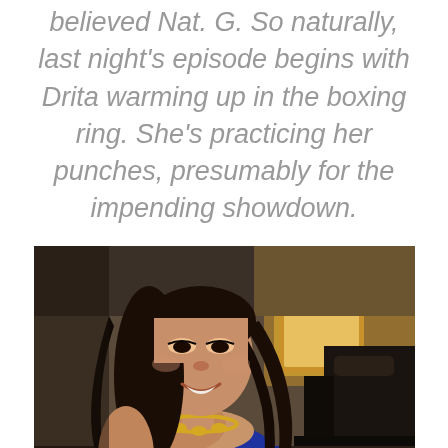believed Nat. G. So naturally, last night's episode begins with Drita warming up in the boxing ring. She's practicing her punches, presumably for the impending showdown.
[Figure (photo): A woman with long dark wavy hair wearing a blue strapless dress and gold necklace, smiling, seated in what appears to be a dimly lit venue with chairs and a door visible in the background.]